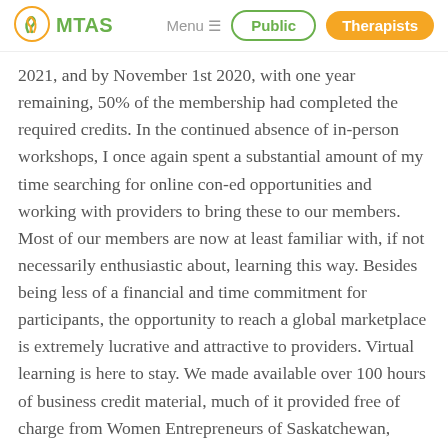MTAS | Menu | Public | Therapists
2021, and by November 1st 2020, with one year remaining, 50% of the membership had completed the required credits. In the continued absence of in-person workshops, I once again spent a substantial amount of my time searching for online con-ed opportunities and working with providers to bring these to our members. Most of our members are now at least familiar with, if not necessarily enthusiastic about, learning this way. Besides being less of a financial and time commitment for participants, the opportunity to reach a global marketplace is extremely lucrative and attractive to providers. Virtual learning is here to stay. We made available over 100 hours of business credit material, much of it provided free of charge from Women Entrepreneurs of Saskatchewan, Work Wellness Institute, various Chambers of Commerce, and Achieve Centre for Leadership, among others. Covid-specific